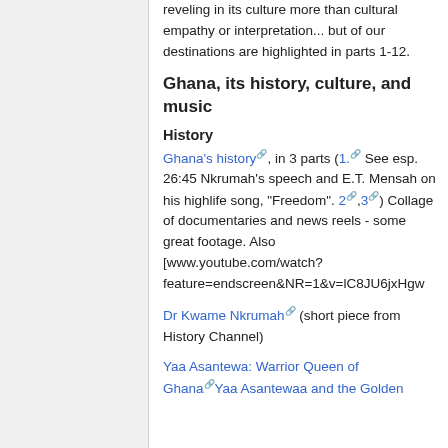reveling in its culture more than cultural empathy or interpretation... but of our destinations are highlighted in parts 1-12.
Ghana, its history, culture, and music
History
Ghana's history, in 3 parts (1. See esp. 26:45 Nkrumah's speech and E.T. Mensah on his highlife song, "Freedom". 2,3) Collage of documentaries and news reels - some great footage. Also [www.youtube.com/watch?feature=endscreen&NR=1&v=lC8JU6jxHgw
Dr Kwame Nkrumah (short piece from History Channel)
Yaa Asantewa: Warrior Queen of GhanaYaa Asantewaa and the Golden